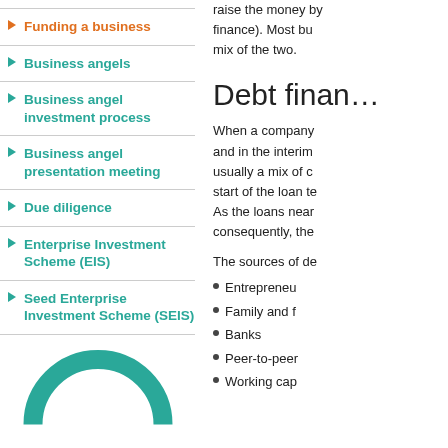Funding a business
Business angels
Business angel investment process
Business angel presentation meeting
Due diligence
Enterprise Investment Scheme (EIS)
Seed Enterprise Investment Scheme (SEIS)
[Figure (logo): Partial teal/green arc logo with text 'CLUBS' visible]
raise the money by borrowing it (debt finance). Most businesses use a mix of the two.
Debt finan…
When a company and in the interim usually a mix of c start of the loan te As the loans near consequently, the
The sources of de
Entrepreneu
Family and f
Banks
Peer-to-peer
Working cap